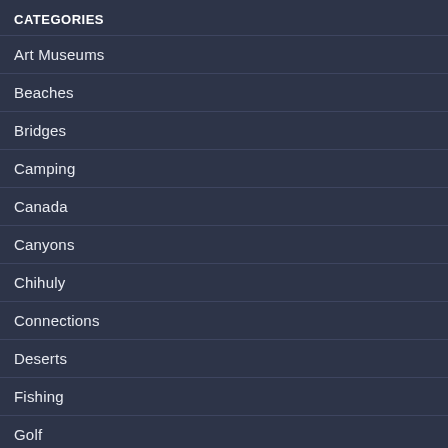CATEGORIES
Art Museums
Beaches
Bridges
Camping
Canada
Canyons
Chihuly
Connections
Deserts
Fishing
Golf